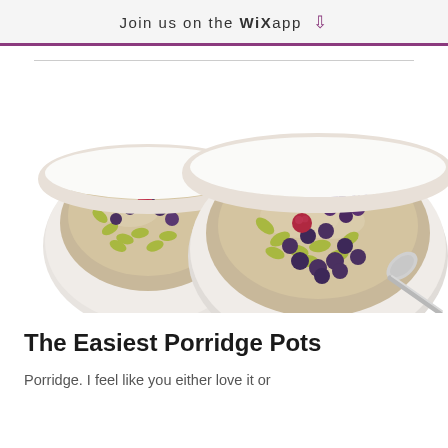Join us on the WiX app
[Figure (photo): Two white ceramic bowls filled with porridge topped with blueberries, raspberries, pumpkin seeds and other mixed berries, with a silver spoon resting beside the right bowl, photographed from above on a white background.]
The Easiest Porridge Pots
Porridge. I feel like you either love it or